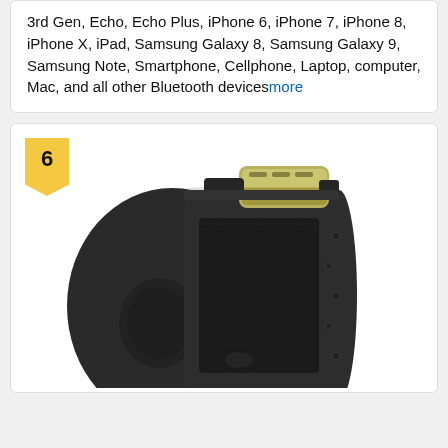3rd Gen, Echo, Echo Plus, iPhone 6, iPhone 7, iPhone 8, iPhone X, iPad, Samsung Galaxy 8, Samsung Galaxy 9, Samsung Note, Smartphone, Cellphone, Laptop, computer, Mac, and all other Bluetooth devicesmore
[Figure (photo): A black portable Bluetooth speaker with a gold/olive colored handle/control panel on top, shown at an angle. The speaker has a mesh grille front, rounded oval shape, and a number 6 ranking badge in the top left corner of the card.]